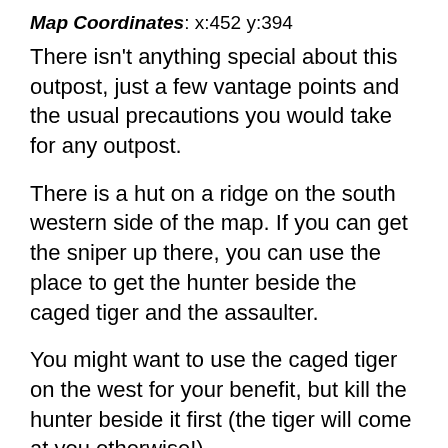Map Coordinates: x:452 y:394
There isn't anything special about this outpost, just a few vantage points and the usual precautions you would take for any outpost.
There is a hut on a ridge on the south western side of the map. If you can get the sniper up there, you can use the place to get the hunter beside the caged tiger and the assaulter.
You might want to use the caged tiger on the west for your benefit, but kill the hunter beside it first (the tiger will come at you otherwise!).
Moving on, you can also get the hunter and an assaulter from the fence on the eastern side.